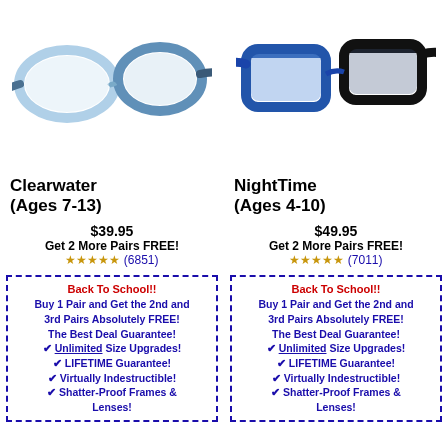[Figure (photo): Light blue/white gradient children's eyeglasses - Clearwater model]
[Figure (photo): Blue and black children's eyeglasses - NightTime model]
Clearwater (Ages 7-13)
NightTime (Ages 4-10)
$39.95
Get 2 More Pairs FREE!
★★★★★ (6851)
$49.95
Get 2 More Pairs FREE!
★★★★★ (7011)
Back To School!! Buy 1 Pair and Get the 2nd and 3rd Pairs Absolutely FREE! The Best Deal Guarantee! ✔ Unlimited Size Upgrades! ✔ LIFETIME Guarantee! ✔ Virtually Indestructible! ✔ Shatter-Proof Frames & Lenses!
Back To School!! Buy 1 Pair and Get the 2nd and 3rd Pairs Absolutely FREE! The Best Deal Guarantee! ✔ Unlimited Size Upgrades! ✔ LIFETIME Guarantee! ✔ Virtually Indestructible! ✔ Shatter-Proof Frames & Lenses!